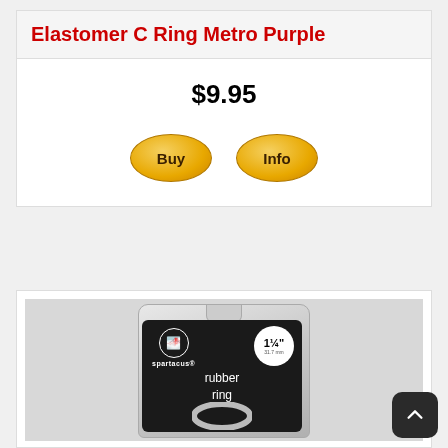Elastomer C Ring Metro Purple
$9.95
Buy
Info
[Figure (photo): Product packaging photo showing a Spartacus rubber ring in blister pack with '1 1/4"' size badge, shown against grey background]